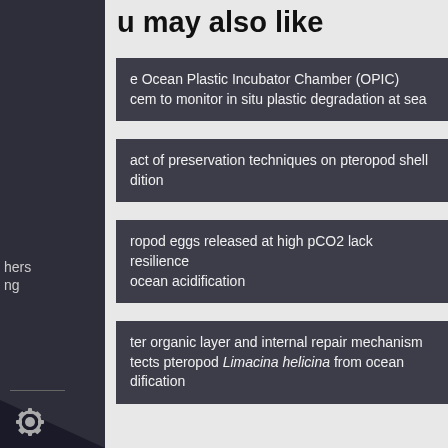u may also like
e Ocean Plastic Incubator Chamber (OPIC) cem to monitor in situ plastic degradation at sea
hers ng
act of preservation techniques on pteropod shell dition
ropod eggs released at high pCO2 lack resilience ocean acidification
ter organic layer and internal repair mechanism tects pteropod Limacina helicina from ocean dification